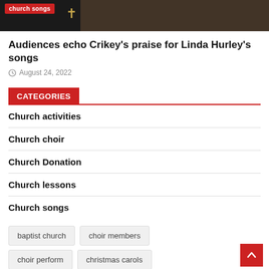[Figure (photo): Dark banner image with a 'church songs' red badge label in top-left, decorative gold cross symbol, and dark warm-toned background on the right suggesting wooden organ pipes or church interior.]
Audiences echo Crikey's praise for Linda Hurley's songs
August 24, 2022
CATEGORIES
Church activities
Church choir
Church Donation
Church lessons
Church songs
baptist church
choir members
choir perform
christmas carols